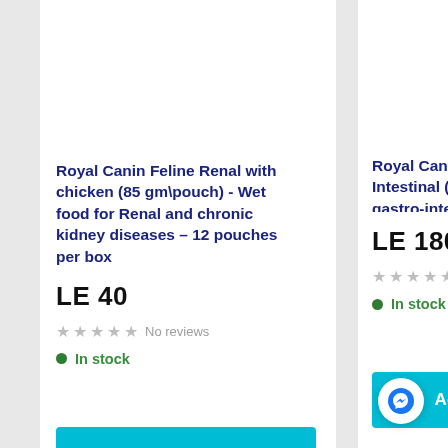Royal Canin Feline Renal with chicken (85 gm\pouch) - Wet food for Renal and chronic kidney diseases – 12 pouches per box
LE 40
No reviews
In stock
Add to cart
Royal Canin Feline Intestinal (0.4 KG) gastro-intestinal c
LE 180
No rev
In stock
Add to